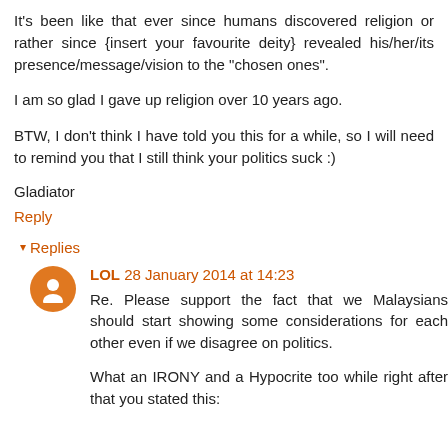It's been like that ever since humans discovered religion or rather since {insert your favourite deity} revealed his/her/its presence/message/vision to the "chosen ones".
I am so glad I gave up religion over 10 years ago.
BTW, I don't think I have told you this for a while, so I will need to remind you that I still think your politics suck :)
Gladiator
Reply
Replies
LOL 28 January 2014 at 14:23
Re. Please support the fact that we Malaysians should start showing some considerations for each other even if we disagree on politics.
What an IRONY and a Hypocrite too while right after that you stated this: